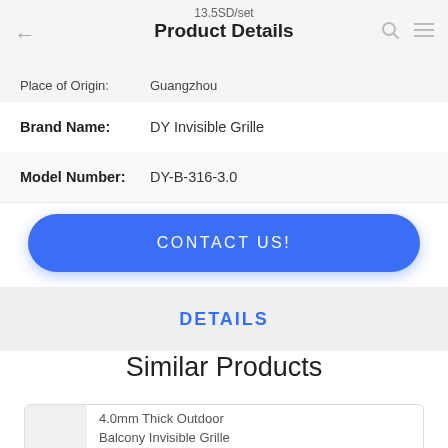13.5SD/set
Product Details
Place of Origin: Guangzhou
Brand Name: DY Invisible Grille
Model Number: DY-B-316-3.0
CONTACT US!
DETAILS
Similar Products
4.0mm Thick Outdoor Balcony Invisible Grille